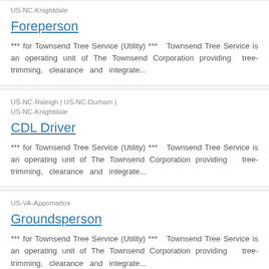US-NC-Knightdale
Foreperson
*** for Townsend Tree Service (Utility) ***  Townsend Tree Service is an operating unit of The Townsend Corporation providing tree-trimming, clearance and integrate...
US-NC-Raleigh | US-NC-Durham |
US-NC-Knightdale
CDL Driver
*** for Townsend Tree Service (Utility) ***  Townsend Tree Service is an operating unit of The Townsend Corporation providing tree-trimming, clearance and integrate...
US-VA-Appomattox
Groundsperson
*** for Townsend Tree Service (Utility) ***  Townsend Tree Service is an operating unit of The Townsend Corporation providing tree-trimming, clearance and integrate...